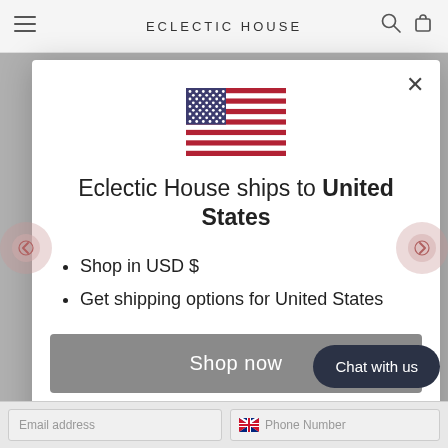ECLECTIC HOUSE
[Figure (illustration): US flag icon centered in modal]
Eclectic House ships to United States
Shop in USD $
Get shipping options for United States
Shop now
Change shipping cou...
Chat with us
Email address
Phone Number